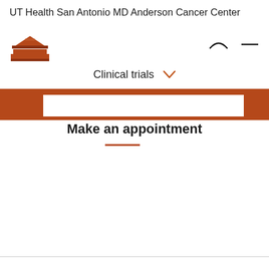UT Health San Antonio MD Anderson Cancer Center
[Figure (logo): UT Health San Antonio MD Anderson Cancer Center logo icon - orange building/tent silhouette]
[Figure (other): Navigation icons: search/profile arc and minimize/close dash]
Clinical trials
Make an appointment